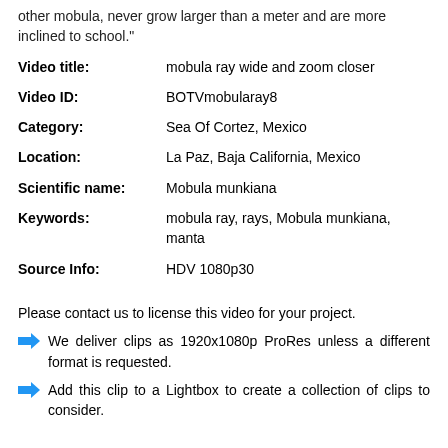other mobula, never grow larger than a meter and are more inclined to school."
Video title: mobula ray wide and zoom closer
Video ID: BOTVmobularay8
Category: Sea Of Cortez, Mexico
Location: La Paz, Baja California, Mexico
Scientific name: Mobula munkiana
Keywords: mobula ray, rays, Mobula munkiana, manta
Source Info: HDV 1080p30
Please contact us to license this video for your project.
We deliver clips as 1920x1080p ProRes unless a different format is requested.
Add this clip to a Lightbox to create a collection of clips to consider.